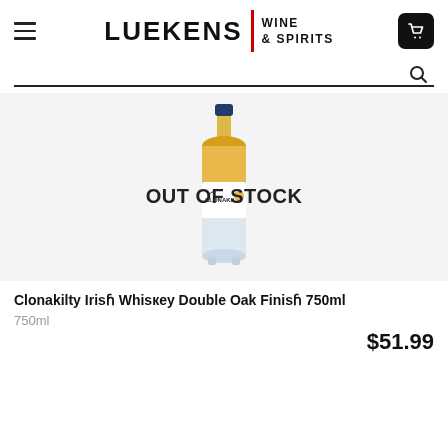LUEKENS | WINE & SPIRITS
[Figure (photo): Clonakilty Irish Whiskey Double Oak Finish 750ml bottle with amber/gold liquid, white label with 'CLONAKILTY' branding, overlaid with 'OUT OF STOCK' text]
Clonakilty Irish Whiskey Double Oak Finish 750ml
750ml
$51.99